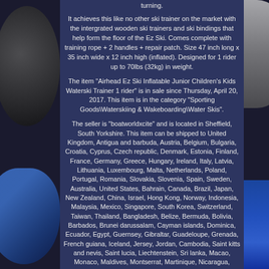turning.
It achieves this like no other ski trainer on the market with the intergrated wooden ski trainers and ski bindings that help form the floor of the Ez Ski. Comes complete with training rope + 2 handles + repair patch. Size 47 inch long x 35 inch wide x 12 inch high (inflated). Designed for 1 rider up to 70lbs (32kg) in weight.
The item "Airhead Ez Ski Inflatable Junior Children's Kids Waterski Trainer 1 rider" is in sale since Thursday, April 20, 2017. This item is in the category "Sporting Goods\Waterskiing & Wakeboarding\Water Skis".
The seller is "boatworldxcite" and is located in Sheffield, South Yorkshire. This item can be shipped to United Kingdom, Antigua and barbuda, Austria, Belgium, Bulgaria, Croatia, Cyprus, Czech republic, Denmark, Estonia, Finland, France, Germany, Greece, Hungary, Ireland, Italy, Latvia, Lithuania, Luxembourg, Malta, Netherlands, Poland, Portugal, Romania, Slovakia, Slovenia, Spain, Sweden, Australia, United States, Bahrain, Canada, Brazil, Japan, New Zealand, China, Israel, Hong Kong, Norway, Indonesia, Malaysia, Mexico, Singapore, South Korea, Switzerland, Taiwan, Thailand, Bangladesh, Belize, Bermuda, Bolivia, Barbados, Brunei darussalam, Cayman islands, Dominica, Ecuador, Egypt, Guernsey, Gibraltar, Guadeloupe, Grenada, French guiana, Iceland, Jersey, Jordan, Cambodia, Saint kitts and nevis, Saint lucia, Liechtenstein, Sri lanka, Macao, Monaco, Maldives, Montserrat, Martinique, Nicaragua, Oman, Pakistan, Peru, Paraguay, Reunion, Turks and caicos islands, Aruba, Saudi arabia, South africa, United arab emirates, Ukraine, Chile, Bahamas, Colombia, Costa rica, Guatemala, Honduras, Jamaica, Kuwait, Panama, Philippines, Qatar, Trinidad and tobago, Uruguay, Viet nam.
MPN: AHEZ-100C Brand: Airhead EAN: Does not apply